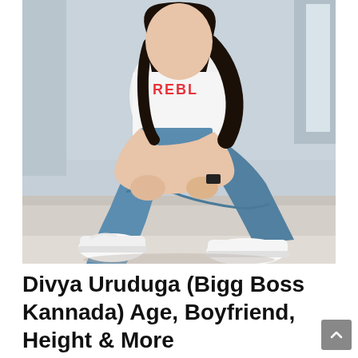[Figure (photo): A young woman sitting on a concrete ledge, wearing a white t-shirt with red 'REBEL' text, blue jeans, and white sneakers. She has dark hair and is holding her knees. Background is a light grey/blue architectural setting.]
Divya Uruduga (Bigg Boss Kannada) Age, Boyfriend, Height & More